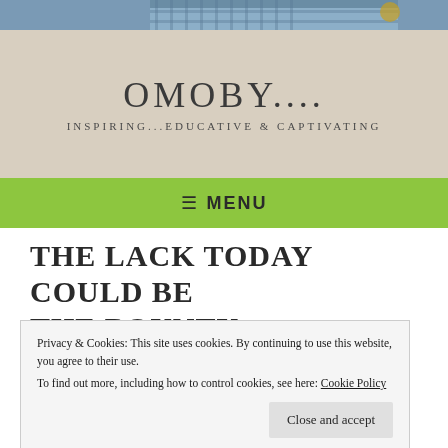[Figure (photo): Top photo strip showing person in plaid clothing, partially cropped]
OMOBY....
INSPIRING...EDUCATIVE & CAPTIVATING
≡ MENU
THE LACK TODAY COULD BE THE BOUNTY TOMORROW!
Privacy & Cookies: This site uses cookies. By continuing to use this website, you agree to their use.
To find out more, including how to control cookies, see here: Cookie Policy
Close and accept